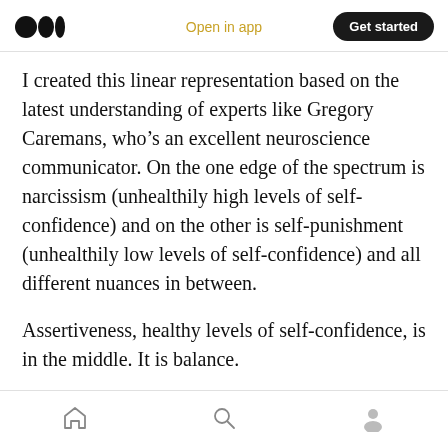Open in app  Get started
I created this linear representation based on the latest understanding of experts like Gregory Caremans, who’s an excellent neuroscience communicator. On the one edge of the spectrum is narcissism (unhealthily high levels of self-confidence) and on the other is self-punishment (unhealthily low levels of self-confidence) and all different nuances in between.
Assertiveness, healthy levels of self-confidence, is in the middle. It is balance.
Where do you stand on this line?